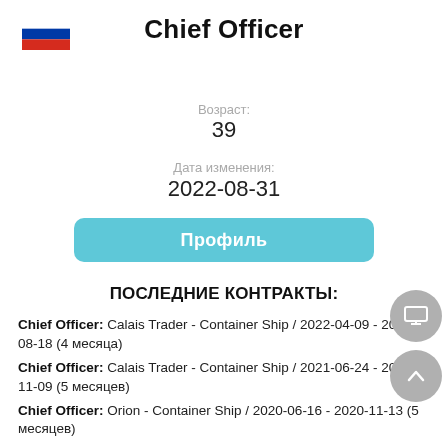[Figure (illustration): Russian flag icon in top left corner]
Chief Officer
Возраст:
39
Дата изменения:
2022-08-31
Профиль
ПОСЛЕДНИЕ КОНТРАКТЫ:
Chief Officer: Calais Trader - Container Ship / 2022-04-09 - 2022-08-18 (4 месяца)
Chief Officer: Calais Trader - Container Ship / 2021-06-24 - 2021-11-09 (5 месяцев)
Chief Officer: Orion - Container Ship / 2020-06-16 - 2020-11-13 (5 месяцев)
Chief Officer: Samskip Skalafell - Container Ship / 2019-06-17 - 2019-10-23 (4 месяца)
Chief Officer: Green Fast - Container Ship / 2018-